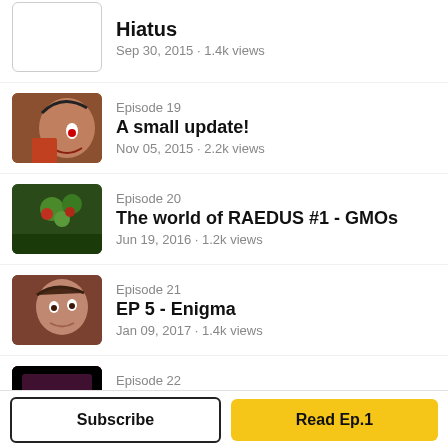Hiatus · Sep 30, 2015 · 1.4k views
Episode 19 · A small update! · Nov 05, 2015 · 2.2k views
Episode 20 · The world of RAEDUS #1 - GMOs · Jun 19, 2016 · 1.2k views
Episode 21 · EP 5 - Enigma · Jan 09, 2017 · 1.4k views
Episode 22 · Ep 6 - p1 - Between dreams an reality · Dec 27, 2017 · 469 views
Episode 23 · Ep 6 - p2 - Between dreams an reality · Jan 14, 2018 · 587 views